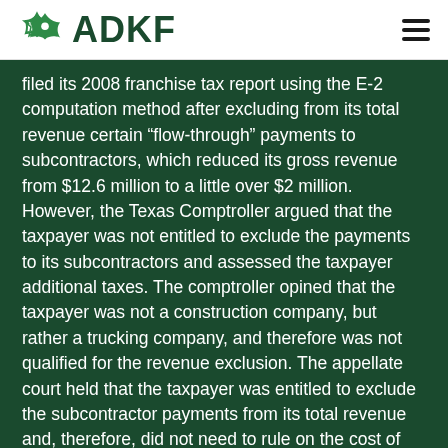ADKF
filed its 2008 franchise tax report using the E-2 computation method after excluding from its total revenue certain “flow-through” payments to subcontractors, which reduced its gross revenue from $12.6 million to a little over $2 million. However, the Texas Comptroller argued that the taxpayer was not entitled to exclude the payments to its subcontractors and assessed the taxpayer additional taxes. The comptroller opined that the taxpayer was not a construction company, but rather a trucking company, and therefore was not qualified for the revenue exclusion. The appellate court held that the taxpayer was entitled to exclude the subcontractor payments from its total revenue and, therefore, did not need to rule on the cost of